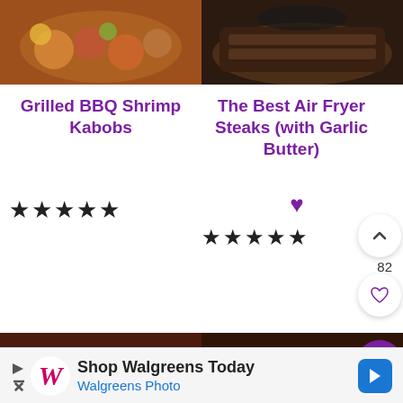[Figure (photo): Food photo of grilled BBQ shrimp kabobs with colorful vegetables]
[Figure (photo): Food photo of air fryer steak in a pan]
Grilled BBQ Shrimp Kabobs
The Best Air Fryer Steaks (with Garlic Butter)
[Figure (other): Five star rating]
[Figure (other): Four and a half star rating with heart icon and scroll up button, count 82, and heart/favorite button]
[Figure (photo): Food photo of glazed salmon or pork ribs with herbs]
[Figure (photo): Food photo of grilled steak sliced showing pink interior]
Shop Walgreens Today
Walgreens Photo